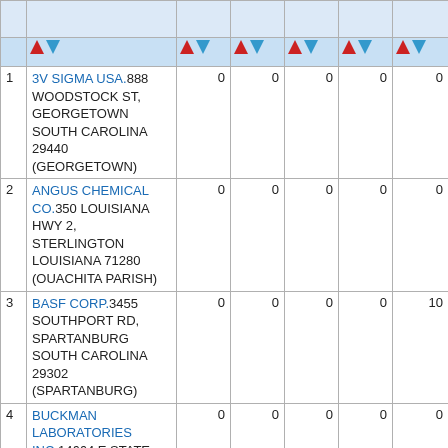| # | Facility | Col1 | Col2 | Col3 | Col4 | Col5 |
| --- | --- | --- | --- | --- | --- | --- |
| 1 | 3V SIGMA USA.888 WOODSTOCK ST, GEORGETOWN SOUTH CAROLINA 29440 (GEORGETOWN) | 0 | 0 | 0 | 0 | 0 |
| 2 | ANGUS CHEMICAL CO.350 LOUISIANA HWY 2, STERLINGTON LOUISIANA 71280 (OUACHITA PARISH) | 0 | 0 | 0 | 0 | 0 |
| 3 | BASF CORP.3455 SOUTHPORT RD, SPARTANBURG SOUTH CAROLINA 29302 (SPARTANBURG) | 0 | 0 | 0 | 0 | 10 |
| 4 | BUCKMAN LABORATORIES INC.14664 E STATE HWY 15, 24677... | 0 | 0 | 0 | 0 | 0 |